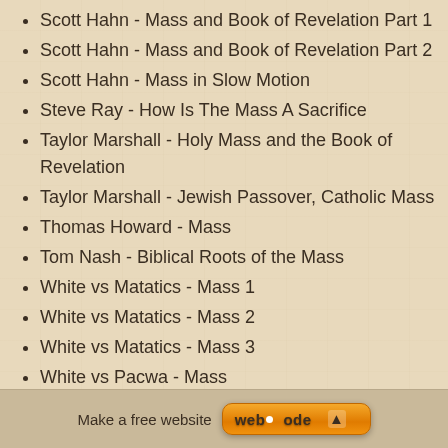Scott Hahn - Mass and Book of Revelation Part 1
Scott Hahn - Mass and Book of Revelation Part 2
Scott Hahn - Mass in Slow Motion
Steve Ray - How Is The Mass A Sacrifice
Taylor Marshall - Holy Mass and the Book of Revelation
Taylor Marshall - Jewish Passover, Catholic Mass
Thomas Howard - Mass
Tom Nash - Biblical Roots of the Mass
White vs Matatics - Mass 1
White vs Matatics - Mass 2
White vs Matatics - Mass 3
White vs Pacwa - Mass
White vs Sungenis - Mass
Make a free website  webnode